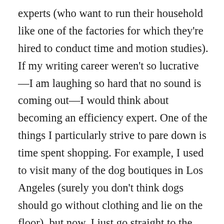experts (who want to run their household like one of the factories for which they're hired to conduct time and motion studies). If my writing career weren't so lucrative—I am laughing so hard that no sound is coming out—I would think about becoming an efficiency expert. One of the things I particularly strive to pare down is time spent shopping. For example, I used to visit many of the dog boutiques in Los Angeles (surely you don't think dogs should go without clothing and lie on the floor), but now, I just go straight to the best shop, which happens to be online: Olive. They have the most beautiful beds and blankets and the cutest collars and